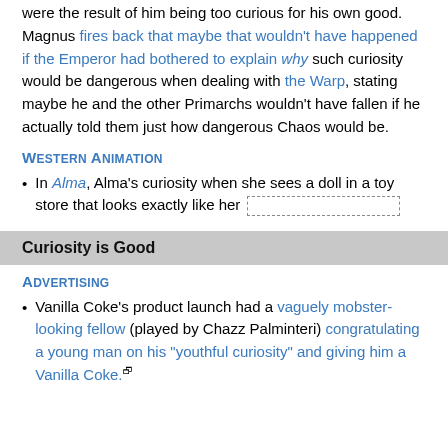were the result of him being too curious for his own good. Magnus fires back that maybe that wouldn't have happened if the Emperor had bothered to explain why such curiosity would be dangerous when dealing with the Warp, stating maybe he and the other Primarchs wouldn't have fallen if he actually told them just how dangerous Chaos would be.
Western Animation
In Alma, Alma's curiosity when she sees a doll in a toy store that looks exactly like her [dashed box]
Curiosity is Good
Advertising
Vanilla Coke's product launch had a vaguely mobster-looking fellow (played by Chazz Palminteri) congratulating a young man on his "youthful curiosity" and giving him a Vanilla Coke.